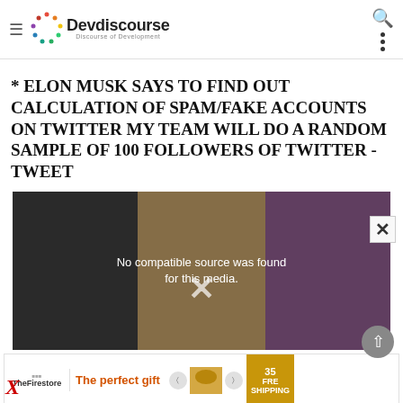Devdiscourse — Discourse of Development
* ELON MUSK SAYS TO FIND OUT CALCULATION OF SPAM/FAKE ACCOUNTS ON TWITTER MY TEAM WILL DO A RANDOM SAMPLE OF 100 FOLLOWERS OF TWITTER - TWEET
[Figure (screenshot): Video player showing 'No compatible source was found for this media.' with a dark background and a close (X) button overlay.]
[Figure (photo): Advertisement banner: 'The perfect gift' with food imagery and navigation buttons, and a gold 'FREE SHIPPING' badge.]